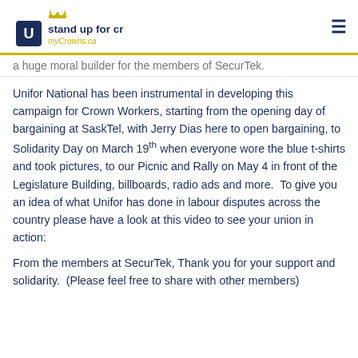stand up for crown workers — myCrowns.ca
a huge moral builder for the members of SecurTek.
Unifor National has been instrumental in developing this campaign for Crown Workers, starting from the opening day of bargaining at SaskTel, with Jerry Dias here to open bargaining, to Solidarity Day on March 19th when everyone wore the blue t-shirts and took pictures, to our Picnic and Rally on May 4 in front of the Legislature Building, billboards, radio ads and more.  To give you an idea of what Unifor has done in labour disputes across the country please have a look at this video to see your union in action:
From the members at SecurTek, Thank you for your support and solidarity.  (Please feel free to share with other members)